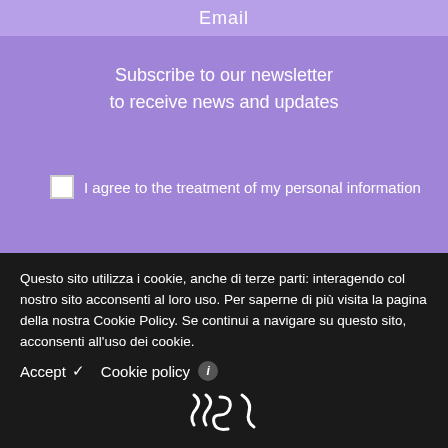Email
Subscribe to our newsletter to receive news and updates
I agree to the treatment of my personal information
SUBSCRIBE
Questo sito utilizza i cookie, anche di terze parti: interagendo col nostro sito acconsenti al loro uso. Per saperne di più visita la pagina della nostra Cookie Policy. Se continui a navigare su questo sito, acconsenti all'uso dei cookie.
Accept ✓  Cookie policy ⓘ